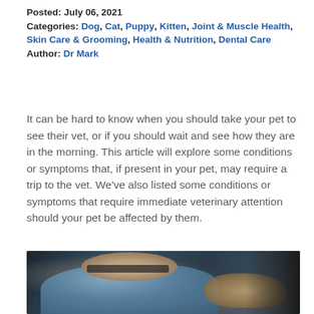Posted: July 06, 2021
Categories: Dog, Cat, Puppy, Kitten, Joint & Muscle Health, Skin Care & Grooming, Health & Nutrition, Dental Care
Author: Dr Mark
It can be hard to know when you should take your pet to see their vet, or if you should wait and see how they are in the morning. This article will explore some conditions or symptoms that, if present in your pet, may require a trip to the vet. We've also listed some conditions or symptoms that require immediate veterinary attention should your pet be affected by them.
[Figure (photo): A veterinarian wearing glasses leaning over and examining a small animal, wearing a blue shirt, with a dark background]